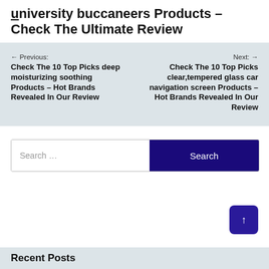university buccaneers Products – Check The Ultimate Review
← Previous: Check The 10 Top Picks deep moisturizing soothing Products – Hot Brands Revealed In Our Review
Next: → Check The 10 Top Picks clear,tempered glass car navigation screen Products – Hot Brands Revealed In Our Review
Search ...
Recent Posts